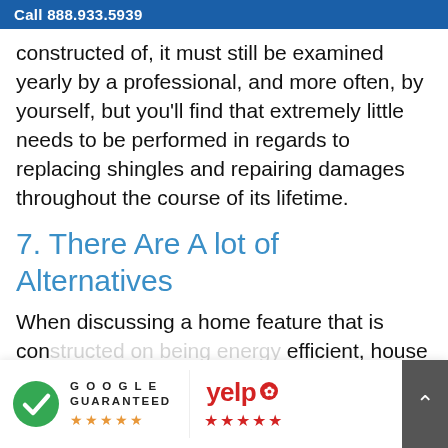Call 888.933.5939
constructed of, it must still be examined yearly by a professional, and more often, by yourself, but you'll find that extremely little needs to be performed in regards to replacing shingles and repairing damages throughout the course of its lifetime.
7. There Are A lot of Alternatives
When discussing a home feature that is constructed on being energy efficient, house owners are left with very limited alternatives in terms of color and style.